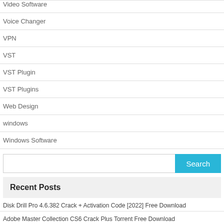Voice Changer
VPN
VST
VST Plugin
VST Plugins
Web Design
windows
Windows Software
Search
Recent Posts
Disk Drill Pro 4.6.382 Crack + Activation Code [2022] Free Download
Adobe Master Collection CS6 Crack Plus Torrent Free Download